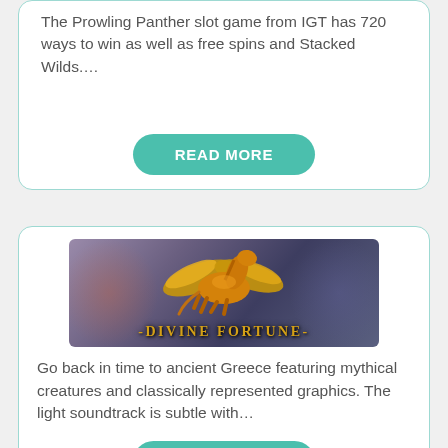The Prowling Panther slot game from IGT has 720 ways to win as well as free spins and Stacked Wilds....
READ MORE
[Figure (illustration): Divine Fortune slot game promotional image featuring a golden winged Pegasus (horse with wings) against a blurred purple/blue background, with the text '-DIVINE FORTUNE-' at the bottom in gold lettering.]
Go back in time to ancient Greece featuring mythical creatures and classically represented graphics. The light soundtrack is subtle with...
READ MORE